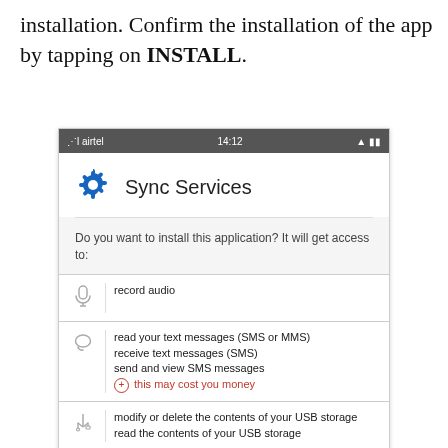installation. Confirm the installation of the app by tapping on INSTALL.
[Figure (screenshot): Android app installation permission screen for 'Sync Services' showing permissions: record audio, read your text messages (SMS or MMS), receive text messages (SMS), send and view SMS messages (this may cost you money), modify or delete the contents of your USB storage, read the contents of your USB storage, directly call phone numbers (this may cost you money).]